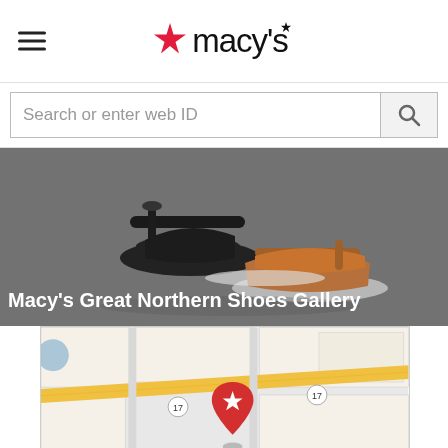[Figure (logo): Macy's logo with red star and macy's wordmark]
Search or enter web ID
[Figure (photo): Two platform sandals on grey background]
Macy's Great Northern Shoes Gallery
[Figure (map): Street map showing location of Macy's Great Northern Shoes Gallery with a red star pin marker, road 17 visible]